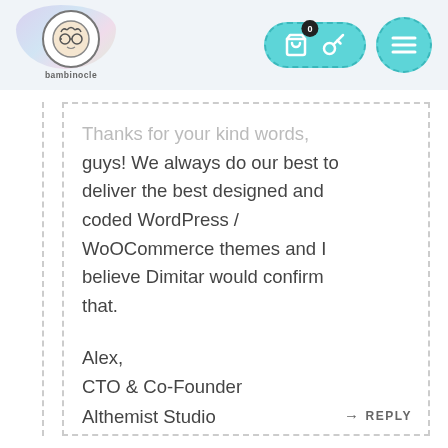[Figure (logo): Bambinocle logo: cartoon character with glasses on a watercolor splash background, text 'bambinocle' below]
[Figure (screenshot): Navigation bar with teal pill-shaped button containing shopping bag icon (badge 0) and key icon, and teal circle with hamburger menu icon]
Thanks for your kind words, guys! We always do our best to deliver the best designed and coded WordPress / WooCommerce themes and I believe Dimitar would confirm that.

Alex,
CTO & Co-Founder
Althemist Studio
→ REPLY